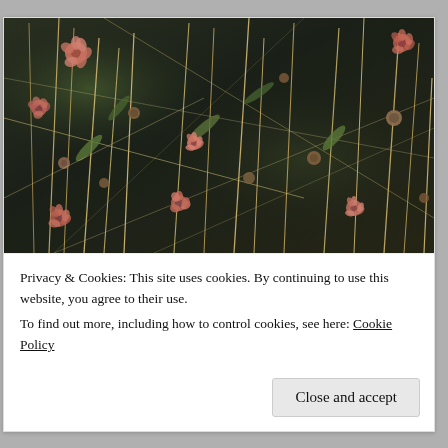[Figure (photo): Close-up photograph of dried wildflowers and grass stems with small pink/salmon colored blooms and seed heads, against a dark blurred background. The plants appear to be in a late-season or dry condition.]
Privacy & Cookies: This site uses cookies. By continuing to use this website, you agree to their use.
To find out more, including how to control cookies, see here: Cookie Policy
Close and accept